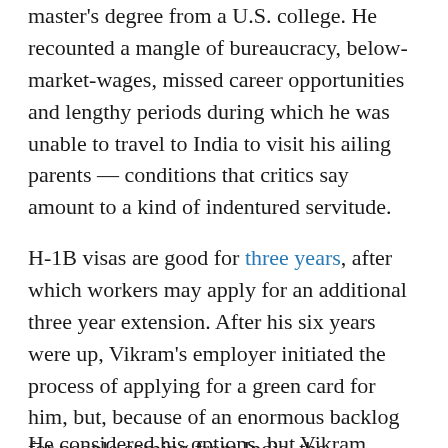master's degree from a U.S. college. He recounted a mangle of bureaucracy, below-market-wages, missed career opportunities and lengthy periods during which he was unable to travel to India to visit his ailing parents — conditions that critics say amount to a kind of indentured servitude.
H-1B visas are good for three years, after which workers may apply for an additional three year extension. After his six years were up, Vikram's employer initiated the process of applying for a green card for him, but, because of an enormous backlog for people coming from India, the processing time was expected to last at least nine years.
He considered his options, but Vikram decided to...